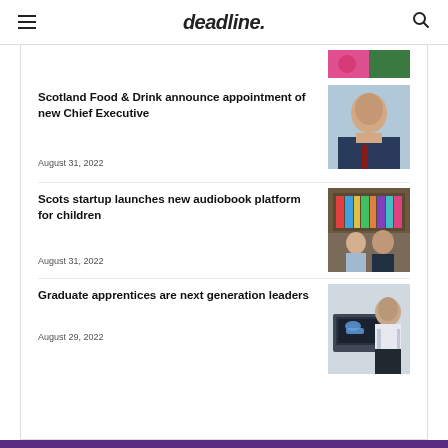deadline.
[Figure (photo): Partial image visible at top - pink and green colors]
Scotland Food & Drink announce appointment of new Chief Executive
August 31, 2022
[Figure (photo): Man in suit smiling]
Scots startup launches new audiobook platform for children
August 31, 2022
[Figure (photo): Two people standing in front of bookshelves]
Graduate apprentices are next generation leaders
August 29, 2022
[Figure (photo): Woman standing in an office or tech environment]